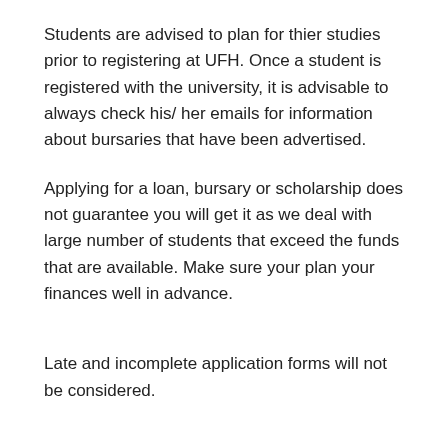Students are advised to plan for thier studies prior to registering at UFH. Once a student is registered with the university, it is advisable to always check his/ her emails for information about bursaries that have been advertised.
Applying for a loan, bursary or scholarship does not guarantee you will get it as we deal with large number of students that exceed the funds that are available. Make sure your plan your finances well in advance.
Late and incomplete application forms will not be considered.
Students are urged to attach all the necessary documents as stated in the application form.